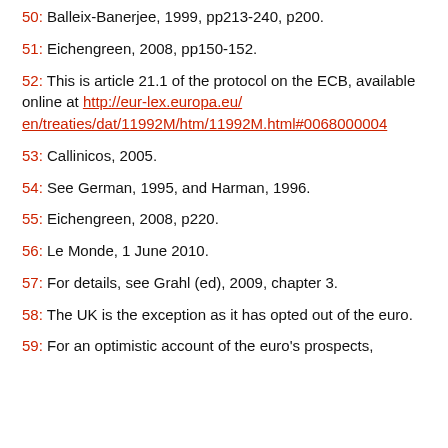50: Balleix-Banerjee, 1999, pp213-240, p200.
51: Eichengreen, 2008, pp150-152.
52: This is article 21.1 of the protocol on the ECB, available online at http://eur-lex.europa.eu/en/treaties/dat/11992M/htm/11992M.html#0068000004
53: Callinicos, 2005.
54: See German, 1995, and Harman, 1996.
55: Eichengreen, 2008, p220.
56: Le Monde, 1 June 2010.
57: For details, see Grahl (ed), 2009, chapter 3.
58: The UK is the exception as it has opted out of the euro.
59: For an optimistic account of the euro's prospects,